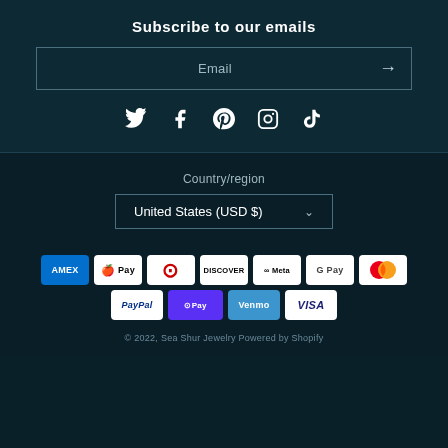Subscribe to our emails
Email
[Figure (infographic): Social media icons: Twitter, Facebook, Pinterest, Instagram, TikTok]
Country/region
United States (USD $)
[Figure (infographic): Payment method icons: American Express, Apple Pay, Diners Club, Discover, Meta Pay, Google Pay, Mastercard, PayPal, Shop Pay, Venmo, Visa]
© 2022, Sea Shur Jewelry Powered by Shopify